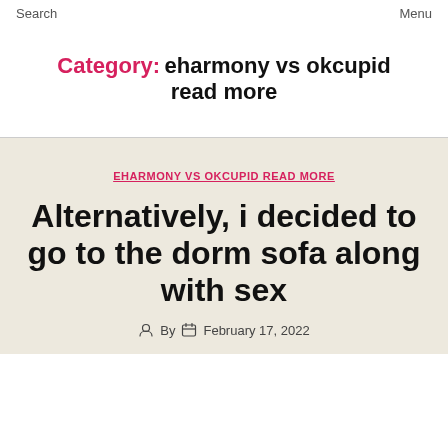Search   Menu
Category: eharmony vs okcupid read more
EHARMONY VS OKCUPID READ MORE
Alternatively, i decided to go to the dorm sofa along with sex
By  February 17, 2022